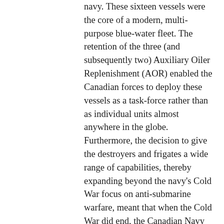navy. These sixteen vessels were the core of a modern, multi-purpose blue-water fleet. The retention of the three (and subsequently two) Auxiliary Oiler Replenishment (AOR) enabled the Canadian forces to deploy these vessels as a task-force rather than as individual units almost anywhere in the globe. Furthermore, the decision to give the destroyers and frigates a wide range of capabilities, thereby expanding beyond the navy's Cold War focus on anti-submarine warfare, meant that when the Cold War did end, the Canadian Navy could perform a wide range of tasks. This is not to suggest that there were not problems and mistakes. The inability of subsequent governments to provide the navy with a modern helicopter remains a serious omission, as was the delay in